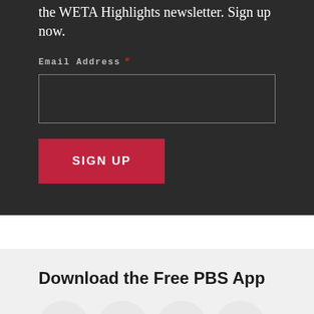the WETA Highlights newsletter. Sign up now.
Email Address *
[Figure (other): Email address input field, empty text box with light border on dark background]
[Figure (other): SIGN UP button, red/crimson background with white uppercase text]
Download the Free PBS App
[Figure (other): App store icons row: Roku, Apple TV, Fire TV, and a fourth app icon, shown as partial circles at bottom of page]